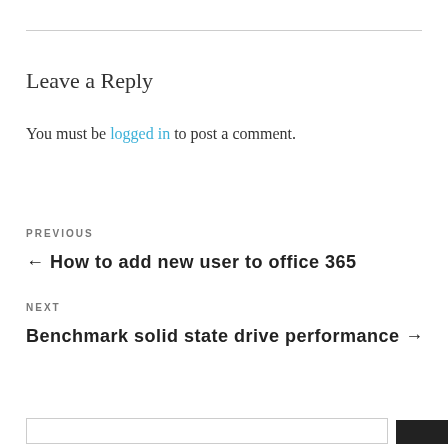Leave a Reply
You must be logged in to post a comment.
PREVIOUS
← How to add new user to office 365
NEXT
Benchmark solid state drive performance →